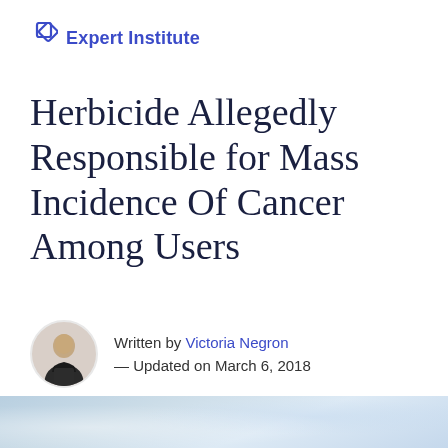Expert Institute
Herbicide Allegedly Responsible for Mass Incidence Of Cancer Among Users
Written by Victoria Negron — Updated on March 6, 2018
[Figure (photo): Partial view of a medical/laboratory image at the bottom of the page]